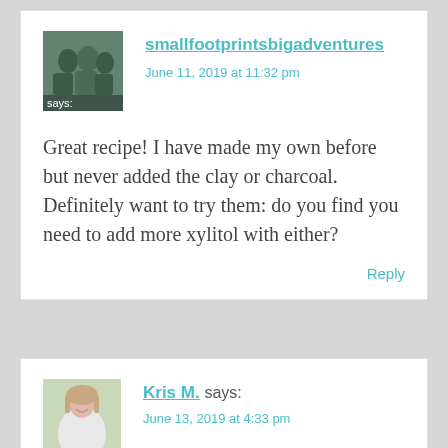[Figure (photo): Avatar photo of smallfootprintsbigadventures showing a group of people outdoors with 'says:' text overlay]
smallfootprintsbigadventures says: June 11, 2019 at 11:32 pm
Great recipe! I have made my own before but never added the clay or charcoal. Definitely want to try them: do you find you need to add more xylitol with either?
Reply
[Figure (photo): Avatar photo of Kris M. showing a woman smiling]
Kris M. says: June 13, 2019 at 4:33 pm